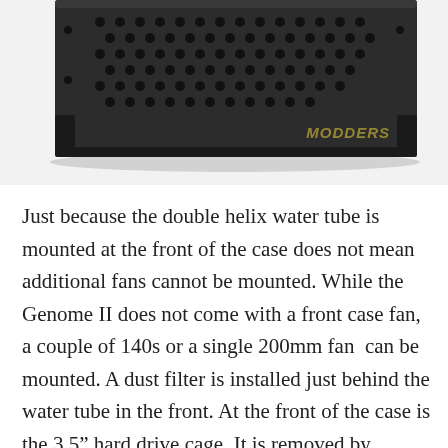[Figure (photo): Top/side view of a dark computer case component (Genome II) showing ventilation holes and mounting rails, with 'MODDERS' watermark in bottom-right corner.]
Just because the double helix water tube is mounted at the front of the case does not mean additional fans cannot be mounted. While the Genome II does not come with a front case fan, a couple of 140s or a single 200mm fan  can be mounted. A dust filter is installed just behind the water tube in the front. At the front of the case is the 3.5" hard drive cage. It is removed by removing the two thumb screws and sliding the cage out